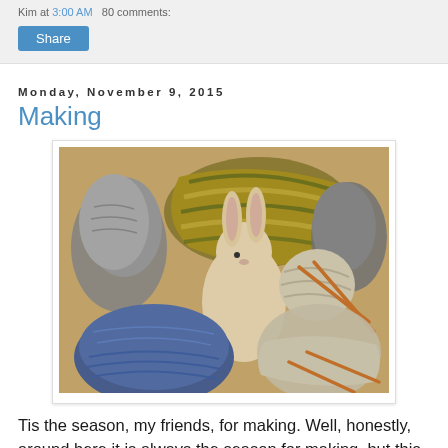Kim at 3:00 AM   80 comments:
Share
Monday, November 9, 2015
Making
[Figure (photo): A collection of knitted items including grey mittens, blue hats, a yellow and green striped scarf, a ball of yarn with knitting needles, and a small stuffed rabbit toy, arranged on a wooden surface.]
Tis the season, my friends, for making. Well, honestly, around here it is always the season for making, but this is the season of gift giving making, and goodness, I love it so much. There have been many things flying off the needles lately, fingerless mitts, hats, and a hitchhiker. More fingerless